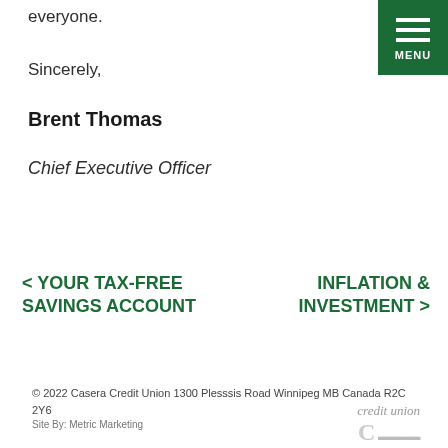everyone.
Sincerely,
Brent Thomas
Chief Executive Officer
< YOUR TAX-FREE SAVINGS ACCOUNT
INFLATION & INVESTMENT >
© 2022 Casera Credit Union 1300 Plesssis Road Winnipeg MB Canada R2C 2Y6
Site By: Metric Marketing